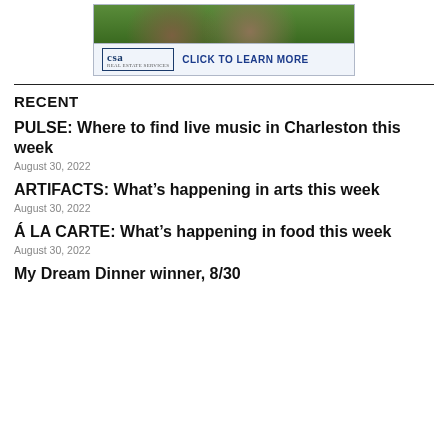[Figure (screenshot): Advertisement banner for CSA Real Estate Services showing a garden/landscape photo at top and a blue 'CLICK TO LEARN MORE' call-to-action bar at the bottom with CSA logo.]
RECENT
PULSE: Where to find live music in Charleston this week
August 30, 2022
ARTIFACTS: What's happening in arts this week
August 30, 2022
Á LA CARTE: What's happening in food this week
August 30, 2022
My Dream Dinner winner, 8/30